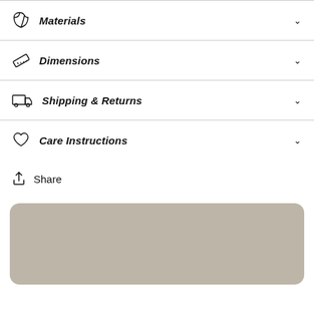Materials
Dimensions
Shipping & Returns
Care Instructions
Share
[Figure (other): Rounded gray/tan rectangle, partial view at bottom of page]